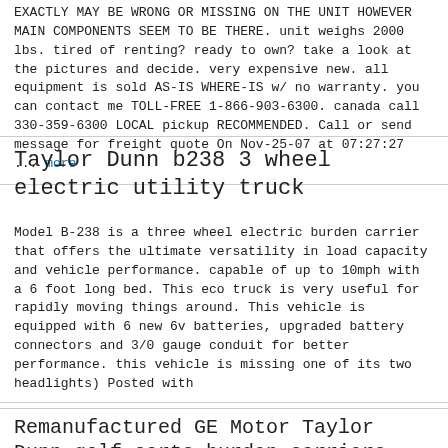EXACTLY MAY BE WRONG OR MISSING ON THE UNIT HOWEVER MAIN COMPONENTS SEEM TO BE THERE. unit weighs 2000 lbs. tired of renting? ready to own? take a look at the pictures and decide. very expensive new. all equipment is sold AS-IS WHERE-IS w/ no warranty. you can contact me TOLL-FREE 1-866-903-6300. canada call 330-359-6300 LOCAL pickup RECOMMENDED. Call or send message for freight quote On Nov-25-07 at 07:27:27 ... more
Taylor Dunn b238 3 wheel electric utility truck
Model B-238 is a three wheel electric burden carrier that offers the ultimate versatility in load capacity and vehicle performance. capable of up to 10mph with a 6 foot long bed. This eco truck is very useful for rapidly moving things around. This vehicle is equipped with 6 new 6v batteries, upgraded battery connectors and 3/0 gauge conduit for better performance. this vehicle is missing one of its two headlights) Posted with
Remanufactured GE Motor Taylor Dunn golf carts burden carriers fan 5BC48JB339C
Replaces motor on Tee Bird golf carts and several Taylor Dunn burden carriers. 3.5 HP@ 2900 RPM on 36 Volts. 11 HP@ 1350 RPM on 36 Volts. The same motor has been used on 48 Volts. Threaded 3/4" external shaft with keyway, has many other applications. Shaft Dimensions: 1-3/4" long by 3/4" diameter with 3/16" keyway and